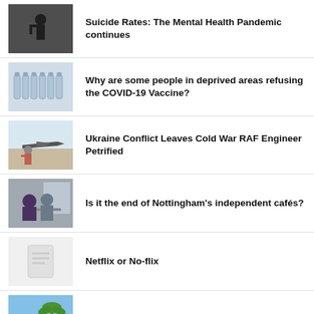[Figure (photo): Dark silhouette of a person against a light background with text]
Suicide Rates: The Mental Health Pandemic continues
[Figure (photo): Rows of vaccine vials in a clinical setting]
Why are some people in deprived areas refusing the COVID-19 Vaccine?
[Figure (photo): Older man with sunglasses standing in front of a military aircraft]
Ukraine Conflict Leaves Cold War RAF Engineer Petrified
[Figure (photo): People sitting at a table in a cafe, viewed from behind]
Is it the end of Nottingham's independent cafés?
[Figure (photo): Light grey placeholder image with faint document icon]
Netflix or No-flix
[Figure (photo): Bright blue sky with palm trees, outdoor scene]
UK family on why they are housing Ukrainian